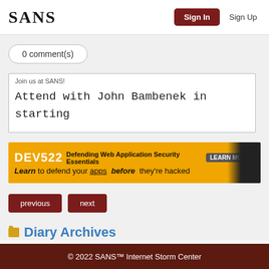SANS | Sign In | Sign Up
0 comment(s)
Join us at SANS!
Attend with John Bambenek in starting
[Figure (infographic): DEV522 Defending Web Application Security Essentials LEARN MORE banner ad. Learn to defend your apps before they're hacked.]
previous  next
Diary Archives
© 2022 SANS™ Internet Storm Center